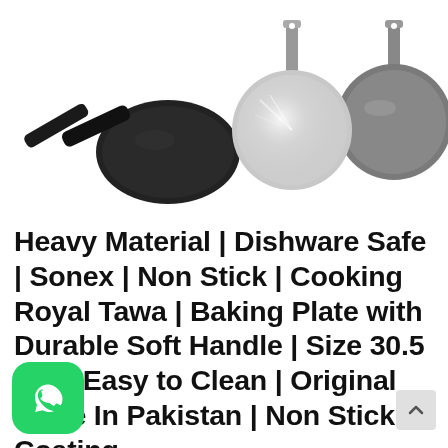[Figure (photo): Three tawa/roti pans shown: left is a dark non-stick pan with black handle viewed at angle, center is a gray non-stick round tawa with metal handle, right is a shiny silver/aluminum tawa with metal handle.]
Heavy Material | Dishware Safe | Sonex | Non Stick | Cooking Royal Tawa | Baking Plate with Durable Soft Handle | Size 30.5 Cm | Easy to Clean | Original Made In Pakistan | Non Stick Coating